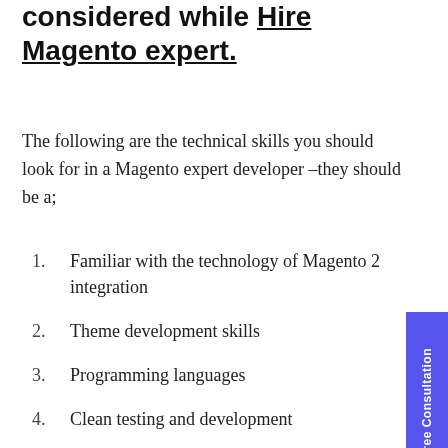considered while Hire Magento expert.
The following are the technical skills you should look for in a Magento expert developer –they should be a;
Familiar with the technology of Magento 2 integration
Theme development skills
Programming languages
Clean testing and development
SEO
eCommerce integration